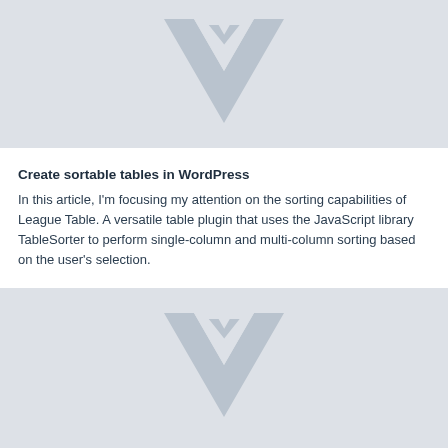[Figure (screenshot): Gray placeholder image block with a faded Vuetify/diamond-chevron watermark logo in the center]
Create sortable tables in WordPress
In this article, I'm focusing my attention on the sorting capabilities of League Table. A versatile table plugin that uses the JavaScript library TableSorter to perform single-column and multi-column sorting based on the user's selection.
[Figure (screenshot): Gray placeholder image block with a faded Vuetify/diamond-chevron watermark logo in the center, partially visible at the bottom of the page]